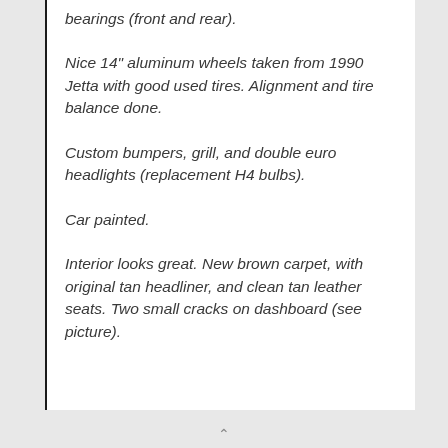bearings (front and rear).
Nice 14" aluminum wheels taken from 1990 Jetta with good used tires. Alignment and tire balance done.
Custom bumpers, grill, and double euro headlights (replacement H4 bulbs).
Car painted.
Interior looks great. New brown carpet, with original tan headliner, and clean tan leather seats. Two small cracks on dashboard (see picture).